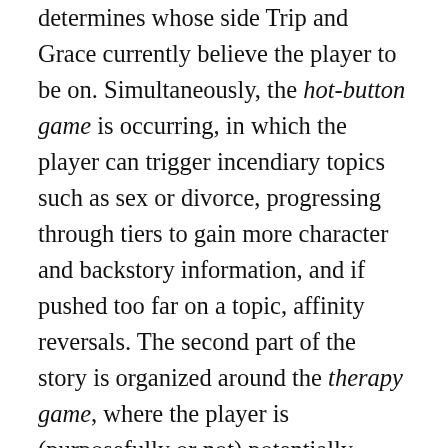determines whose side Trip and Grace currently believe the player to be on. Simultaneously, the hot-button game is occurring, in which the player can trigger incendiary topics such as sex or divorce, progressing through tiers to gain more character and backstory information, and if pushed too far on a topic, affinity reversals. The second part of the story is organized around the therapy game, where the player is (purposefully or not) potentially increasing each characters' degree of self-realization about their own problems, represented internally as a series of counters. Additionally, the system keeps track of the overall story tension level, which is affected by player moves in the various social